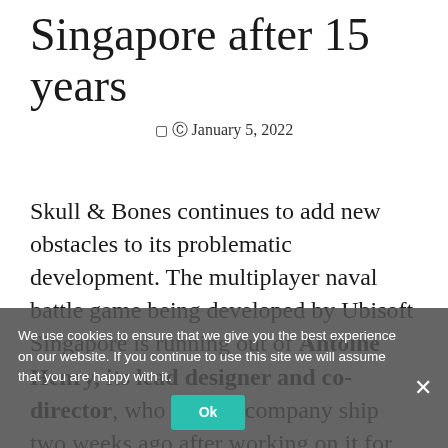Singapore after 15 years
© January 5, 2022
Skull & Bones continues to add new obstacles to its problematic development. The multiplayer naval battle game being developed by Ubisoft Singapore is running out of Antoine Henry, its lead designer and co-director, who left the company ship two weeks ago after working on it for nearly fifteen years. This was confirmed by the notice that he published on his professional LinkedIn account (via Gaming Bolt) in a thank you message aimed at all professionals with whom he shared different
We use cookies to ensure that we give you the best experience on our website. If you continue to use this site we will assume that you are happy with it.